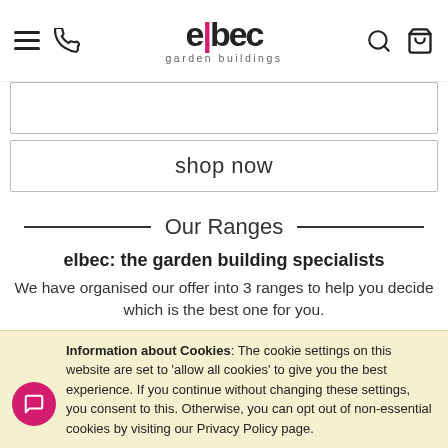elbec garden buildings — navigation header with hamburger, phone, search, and cart icons
[Figure (screenshot): Empty search input box with border]
shop now
Our Ranges
elbec: the garden building specialists
We have organised our offer into 3 ranges to help you decide which is the best one for you.
Pricewise, Popular & Premium: all offer great value for
Information about Cookies: The cookie settings on this website are set to 'allow all cookies' to give you the best experience. If you continue without changing these settings, you consent to this. Otherwise, you can opt out of non-essential cookies by visiting our Privacy Policy page.